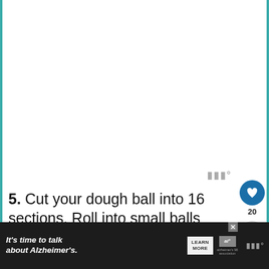5.  Cut your dough ball into 16 sections. Roll into small balls and set aside.
[Figure (photo): Photo of dough balls on a wooden cutting board with flour and a chef's knife]
WHAT'S NEXT → Copycat Texas Roadhouse...
[Figure (screenshot): Advertisement banner: It's time to talk about Alzheimer's. LEARN MORE. al logo. Alzheimer's Association logo.]